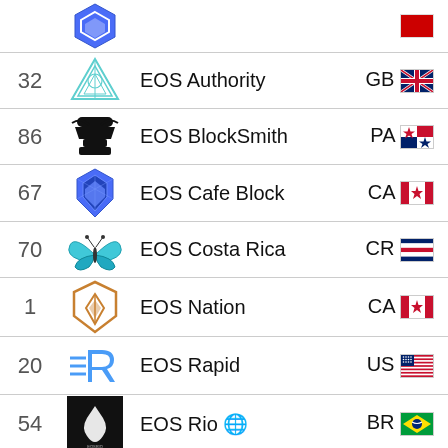| Rank | Logo | Name | Country |
| --- | --- | --- | --- |
|  |  | …top row partial… |  |
| 32 | EOS logo | EOS Authority | GB |
| 86 | BlockSmith logo | EOS BlockSmith | PA |
| 67 | Cafe Block logo | EOS Cafe Block | CA |
| 70 | Costa Rica logo | EOS Costa Rica | CR |
| 1 | EOS Nation logo | EOS Nation | CA |
| 20 | EOS Rapid logo | EOS Rapid | US |
| 54 | EOS Rio logo | EOS Rio 🌐 | BR |
| 42 | EOS Titan logo | EOS Titan | BG |